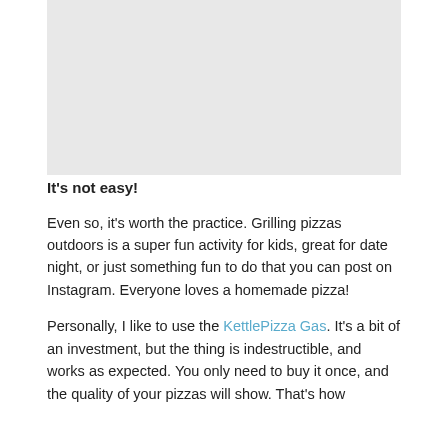[Figure (photo): Image placeholder area at the top of the page]
It's not easy!
Even so, it's worth the practice. Grilling pizzas outdoors is a super fun activity for kids, great for date night, or just something fun to do that you can post on Instagram. Everyone loves a homemade pizza!
Personally, I like to use the KettlePizza Gas. It's a bit of an investment, but the thing is indestructible, and works as expected. You only need to buy it once, and the quality of your pizzas will show. That's how